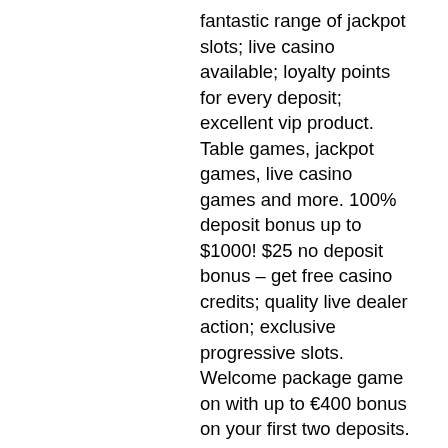fantastic range of jackpot slots; live casino available; loyalty points for every deposit; excellent vip product. Table games, jackpot games, live casino games and more. 100% deposit bonus up to $1000! $25 no deposit bonus – get free casino credits; quality live dealer action; exclusive progressive slots. Welcome package game on with up to €400 bonus on your first two deposits. Find out more by reading our full review of the deposit bonus, free spins bonus and withdrawal times. There is no live casino at jackpot mobile casino. Game types, virtual and live casino. Deposit &amp; withdrawal methods, upi, netbanking, rupay, visa, mastercard, and more. Full canadian online casino list ; 1. Book of dead · $1500 casino bonus · 200 bonus spins ; 2. 10 no deposit Believe it or not, jackpot city casino has been in business for 20 years. Get a $1600 bonus across your first four deposits. Licensed by the malta